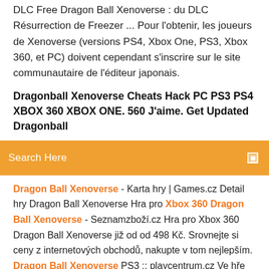DLС Free Dragon Ball Xenoverse : du DLС Résurrection de Freezer ... Pour l'obtenir, les joueurs de Xenoverse (versions PS4, Xbox One, PS3, Xbox 360, et PC) doivent cependant s'inscrire sur le site communautaire de l'éditeur japonais.
Dragonball Xenoverse Cheats Hack PC PS3 PS4 XBOX 360 XBOX ONE. 560 J'aime. Get Updated Dragonball
Search Here
Dragon Ball Xenoverse - Karta hry | Games.cz Detail hry Dragon Ball Xenoverse Hra pro Xbox 360 Dragon Ball Xenoverse - Seznamzboží.cz Hra pro Xbox 360 Dragon Ball Xenoverse již od od 498 Kč. Srovnejte si ceny z internetových obchodů, nakupte v tom nejlepším. Dragon Ball Xenoverse PS3 :: playcentrum.cz Ve hře Dragon Ball Xenoverse prostřednictvím svého avatara znovu navštívíte ty nejslavnější bitvy napříč všemi sériemi. Stanete bok po boku známého hrdiny jménem Trunks a mnoha dalších postav.